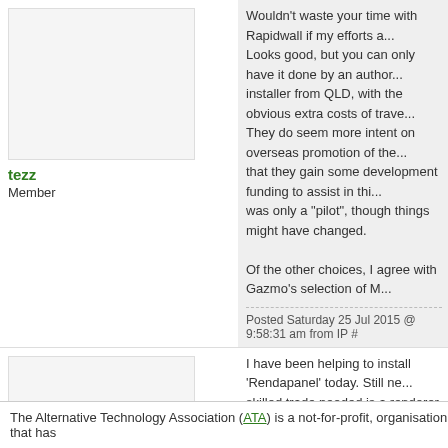Wouldn't waste your time with Rapidwall if my efforts a... Looks good, but you can only have it done by an author... installer from QLD, with the obvious extra costs of trave... They do seem more intent on overseas promotion of the... that they gain some development funding to assist in thi... was only a "pilot", though things might have changed. Of the other choices, I agree with Gazmo's selection of M...
tezz
Member
Posted Saturday 25 Jul 2015 @ 9:58:31 am from IP #
I have been helping to install 'Rendapanel' today. Still ne... skilled trade needed is a renderer. R2.5 too + your choid... R2.0 bulk + RFL?? should perform well.
Johnnojack
Member
Posted Saturday 25 Jul 2015 @ 10:47:57 am from IP #
The Alternative Technology Association (ATA) is a not-for-profit, organisation that has